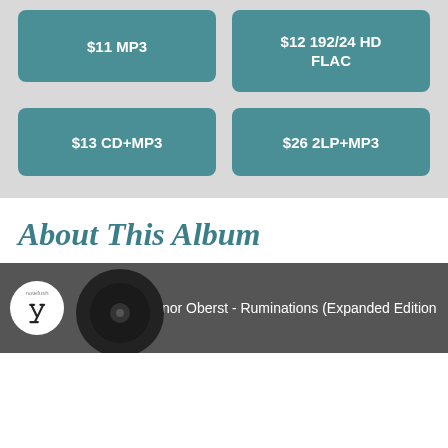$11 MP3
$12 192/24 HD FLAC
$13 CD+MP3
$26 2LP+MP3
About This Album
[Figure (screenshot): Video thumbnail showing Conor Oberst - Ruminations (Expanded Edition) with notefush logo]